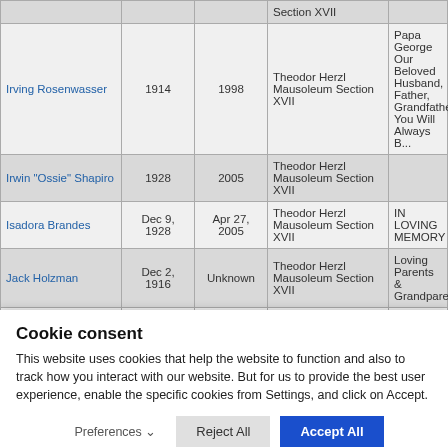| Name | Born | Died | Location | Message |
| --- | --- | --- | --- | --- |
|  |  |  | Section XVII |  |
| Irving Rosenwasser | 1914 | 1998 | Theodor Herzl Mausoleum Section XVII | Papa George Our Beloved Husband, Father, Grandfather You Will Always B... |
| Irwin "Ossie" Shapiro | 1928 | 2005 | Theodor Herzl Mausoleum Section XVII |  |
| Isadora Brandes | Dec 9, 1928 | Apr 27, 2005 | Theodor Herzl Mausoleum Section XVII | IN LOVING MEMORY |
| Jack Holzman | Dec 2, 1916 | Unknown | Theodor Herzl Mausoleum Section XVII | Loving Parents & Grandparents |
|  |  |  | Theodor... |  |
Cookie consent
This website uses cookies that help the website to function and also to track how you interact with our website. But for us to provide the best user experience, enable the specific cookies from Settings, and click on Accept.